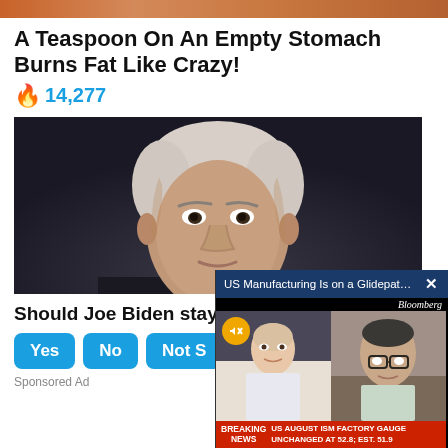[Figure (photo): Top orange/brown gradient banner image strip]
A Teaspoon On An Empty Stomach Burns Fat Like Crazy!
🔥 14,277
[Figure (photo): Close-up photo of Joe Biden looking slightly to the right, dark background]
Should Joe Biden stay in office after 2024?
Yes  No  Not Sure
Sponsored Ad
[Figure (screenshot): Bloomberg TV video popup showing 'US Manufacturing Is on a Glidepath, ISM...' with a female anchor and a male guest, Breaking News ticker: US AUGUST ISM FACTORY GAUGE UNCHANGED AT 52.8; EST. 51.9]